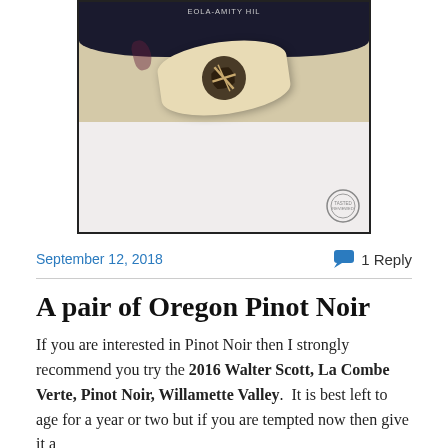[Figure (photo): Photo of a wine cork with a branded logo stamp in dark brown/black on beige cork, lying in front of a dark wine bottle labeled EOLA-AMITY HILLS, on a white plate/surface. A small circular watermark stamp appears in the bottom right corner of the photo.]
September 12, 2018
1 Reply
A pair of Oregon Pinot Noir
If you are interested in Pinot Noir then I strongly recommend you try the 2016 Walter Scott, La Combe Verte, Pinot Noir, Willamette Valley.  It is best left to age for a year or two but if you are tempted now then give it a